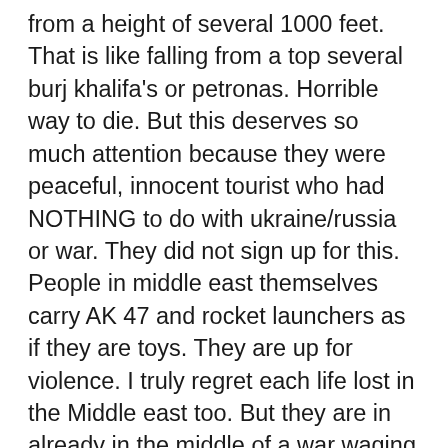from a height of several 1000 feet. That is like falling from a top several burj khalifa's or petronas. Horrible way to die. But this deserves so much attention because they were peaceful, innocent tourist who had NOTHING to do with ukraine/russia or war. They did not sign up for this. People in middle east themselves carry AK 47 and rocket launchers as if they are toys. They are up for violence. I truly regret each life lost in the Middle east too. But they are in already in the middle of a war waging territory or war prone area. I am not including UAE or Qatar where such things almost never happen. Libya, Iraq, Syria, Iran...have had many battles..so people expect and then too their bodies are not